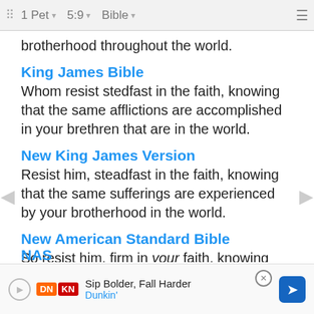1 Pet  5:9  Bible
brotherhood throughout the world.
King James Bible
Whom resist stedfast in the faith, knowing that the same afflictions are accomplished in your brethren that are in the world.
New King James Version
Resist him, steadfast in the faith, knowing that the same sufferings are experienced by your brotherhood in the world.
New American Standard Bible
So resist him, firm in your faith, knowing that the same experiences of suffering are being accomplished by your brothers and sisters who are in the
NAS
Sip Bolder, Fall Harder Dunkin'